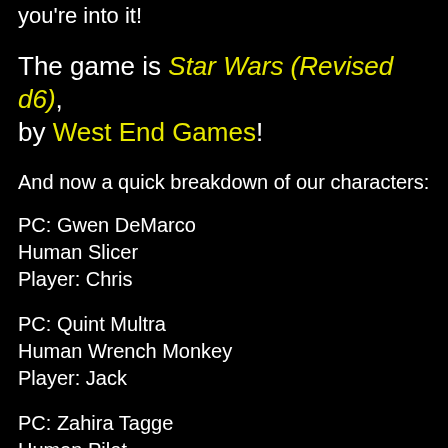you're into it!
The game is Star Wars (Revised d6), by West End Games!
And now a quick breakdown of our characters:
PC:  Gwen DeMarco
Human Slicer
Player:  Chris
PC:  Quint Multra
Human Wrench Monkey
Player:  Jack
PC:  Zahira Tagge
Human Pilot
Player:  Brian